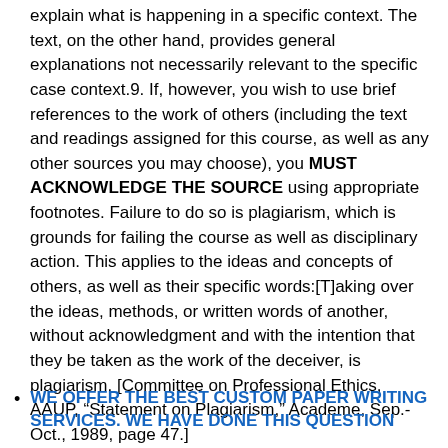explain what is happening in a specific context. The text, on the other hand, provides general explanations not necessarily relevant to the specific case context.9. If, however, you wish to use brief references to the work of others (including the text and readings assigned for this course, as well as any other sources you may choose), you MUST ACKNOWLEDGE THE SOURCE using appropriate footnotes. Failure to do so is plagiarism, which is grounds for failing the course as well as disciplinary action. This applies to the ideas and concepts of others, as well as their specific words:[T]aking over the ideas, methods, or written words of another, without acknowledgment and with the intention that they be taken as the work of the deceiver, is plagiarism. [Committee on Professional Ethics, AAUP, “Statement on Plagiarism,” Academe, Sep.-Oct., 1989, page 47.]
WE OFFER THE BEST CUSTOM PAPER WRITING SERVICES. WE HAVE DONE THIS QUESTION